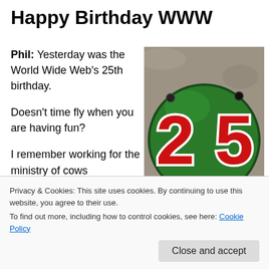Happy Birthday WWW
Phil: Yesterday was the World Wide Web's 25th birthday.

Doesn't time fly when you are having fun?

I remember working for the ministry of cows
[Figure (photo): Green circular enamel sign with the number 25 in large red numerals with white outline, mounted on a stone surface.]
Privacy & Cookies: This site uses cookies. By continuing to use this website, you agree to their use.
To find out more, including how to control cookies, see here: Cookie Policy

Close and accept